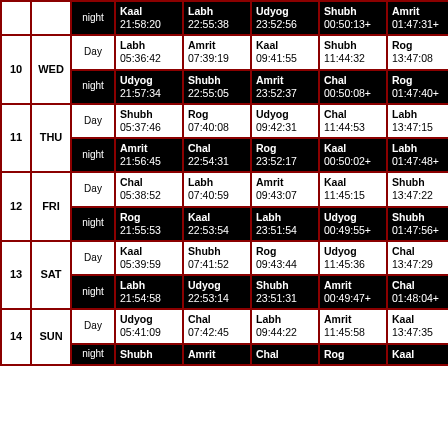| # | Day | Period | Col1 | Col2 | Col3 | Col4 | Col5 | Col6 |
| --- | --- | --- | --- | --- | --- | --- | --- | --- |
|  |  | night | Kaal 21:58:20 | Labh 22:55:38 | Udyog 23:52:56 | Shubh 00:50:13+ | Amrit 01:47:31+ | Cha 02:4... |
| 10 | WED | Day | Labh 05:36:42 | Amrit 07:39:19 | Kaal 09:41:55 | Shubh 11:44:32 | Rog 13:47:08 | Udy 15:4... |
|  |  | night | Udyog 21:57:34 | Shubh 22:55:05 | Amrit 23:52:37 | Chal 00:50:08+ | Rog 01:47:40+ | Kaa 02:4... |
| 11 | THU | Day | Shubh 05:37:46 | Rog 07:40:08 | Udyog 09:42:31 | Chal 11:44:53 | Labh 13:47:15 | Am 15:4... |
|  |  | night | Amrit 21:56:45 | Chal 22:54:31 | Rog 23:52:17 | Kaal 00:50:02+ | Labh 01:47:48+ | Udy 02:4... |
| 12 | FRI | Day | Chal 05:38:52 | Labh 07:40:59 | Amrit 09:43:07 | Kaal 11:45:15 | Shubh 13:47:22 | Rog 15:4... |
|  |  | night | Rog 21:55:53 | Kaal 22:53:54 | Labh 23:51:54 | Udyog 00:49:55+ | Shubh 01:47:56+ | Am 02:4... |
| 13 | SAT | Day | Kaal 05:39:59 | Shubh 07:41:52 | Rog 09:43:44 | Udyog 11:45:36 | Chal 13:47:29 | Lab 15:4... |
|  |  | night | Labh 21:54:58 | Udyog 22:53:14 | Shubh 23:51:31 | Amrit 00:49:47+ | Chal 01:48:04+ | Rog 02:4... |
| 14 | SUN | Day | Udyog 05:41:09 | Chal 07:42:45 | Labh 09:44:22 | Amrit 11:45:58 | Kaal 13:47:35 | Shu 15:4... |
|  |  | night | Shubh... | Amrit... | Chal... | Rog... | Kaal... | Lab... |